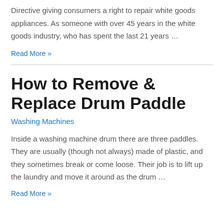Directive giving consumers a right to repair white goods appliances. As someone with over 45 years in the white goods industry, who has spent the last 21 years …
Read More »
How to Remove & Replace Drum Paddle
Washing Machines
Inside a washing machine drum there are three paddles. They are usually (though not always) made of plastic, and they sometimes break or come loose. Their job is to lift up the laundry and move it around as the drum …
Read More »